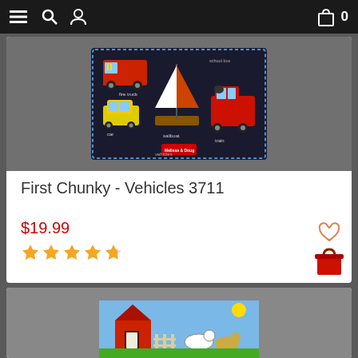Navigation bar with menu, search, user, bag icons and cart count 0
[Figure (screenshot): Melissa & Doug First Chunky Vehicles puzzle product image on dark background showing firetruck, car, sailboat, school bus, and train pieces]
First Chunky - Vehicles 3711
$19.99
[Figure (other): 5 star rating display with orange filled stars]
[Figure (screenshot): Second product listing showing partial farm puzzle image at bottom of page]